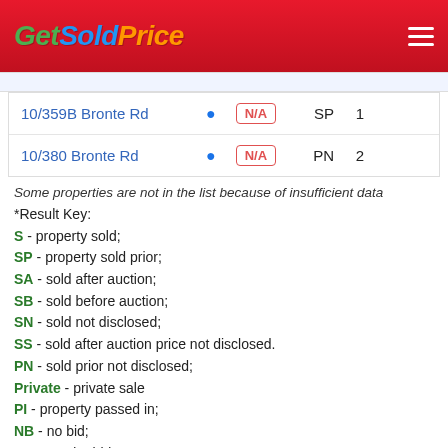[Figure (logo): GetSoldPrice logo in header bar with hamburger menu icon]
| Address |  | Price | Result | Beds |
| --- | --- | --- | --- | --- |
| 10/359B Bronte Rd | 📍 | N/A | SP | 1 |
| 10/380 Bronte Rd | 📍 | N/A | PN | 2 |
Some properties are not in the list because of insufficient data
*Result Key:
S - property sold;
SP - property sold prior;
SA - sold after auction;
SB - sold before auction;
SN - sold not disclosed;
SS - sold after auction price not disclosed.
PN - sold prior not disclosed;
Private - private sale
PI - property passed in;
NB - no bid;
VB - vendor bid;
W - withdrawn prior to auction;
N/A - price or highest bid not available.